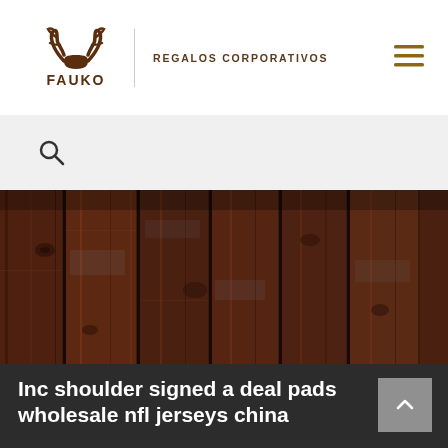[Figure (logo): FAUKO logo with deer antlers above text FAUKO, brown color]
REGALOS CORPORATIVOS
[Figure (illustration): Hamburger menu icon in gold/brown color]
[Figure (illustration): Search icon (magnifying glass)]
[Figure (photo): Dark wood plank background texture photo]
Inc shoulder signed a deal pads wholesale nfl jerseys china